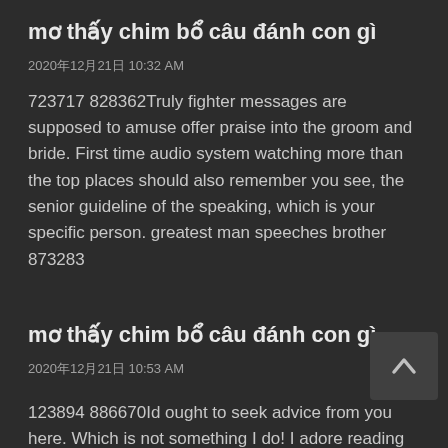mơ thấy chim bổ câu đánh con gì
2020年12月21日 10:32 AM
723717 828362Truly fighter messages are supposed to amuse offer praise into the groom and bride. First time audio system watching more than the top places should also remember you see, the senior guideline of the speaking, which is your specific person. greatest man speeches brother 873283
mơ thấy chim bổ câu đánh con gì
2020年12月21日 10:53 AM
123894 886670Id ought to seek advice from you here. Which is not something I do! I adore reading an write-up that could make men and women feel